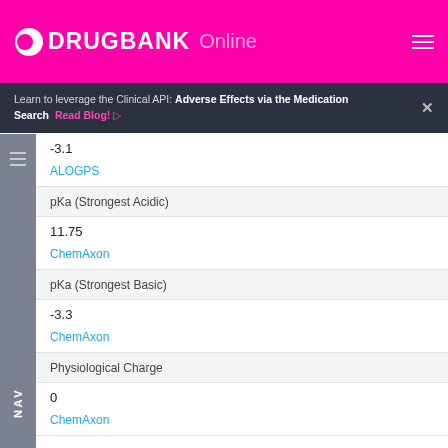DRUGBANK Online
Learn to leverage the Clinical API: Adverse Effects via the Medication Search  Read Blog!  ×
-3.1
ALOGPS
pKa (Strongest Acidic)
11.75
ChemAxon
pKa (Strongest Basic)
-3.3
ChemAxon
Physiological Charge
0
ChemAxon